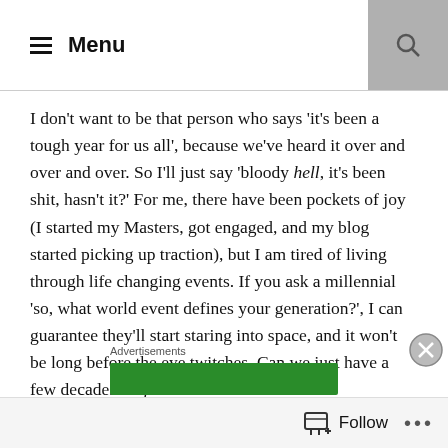☰ Menu
I don't want to be that person who says 'it's been a tough year for us all', because we've heard it over and over and over. So I'll just say 'bloody hell, it's been shit, hasn't it?' For me, there have been pockets of joy (I started my Masters, got engaged, and my blog started picking up traction), but I am tired of living through life changing events. If you ask a millennial 'so, what world event defines your generation?', I can guarantee they'll start staring into space, and it won't be long before the eye twitches. Can we just have a few decades of quiet? That would be nice.

To get through this year, as well as using humour as a defence
Advertisements
Follow ...